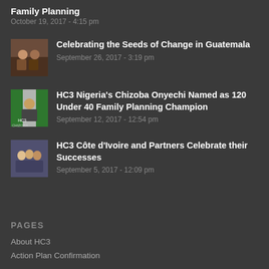Family Planning
October 19, 2017 - 4:15 pm
Celebrating the Seeds of Change in Guatemala
September 26, 2017 - 3:19 pm
HC3 Nigeria's Chizoba Onyechi Named as 120 Under 40 Family Planning Champion
September 12, 2017 - 12:54 pm
HC3 Côte d'Ivoire and Partners Celebrate their Successes
September 5, 2017 - 12:09 pm
PAGES
About HC3
Action Plan Confirmation